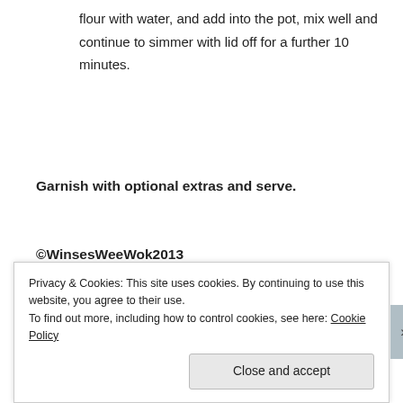flour with water, and add into the pot, mix well and continue to simmer with lid off for a further 10 minutes.
Garnish with optional extras and serve.
©WinsesWeeWok2013
Privacy & Cookies: This site uses cookies. By continuing to use this website, you agree to their use.
To find out more, including how to control cookies, see here: Cookie Policy
Close and accept